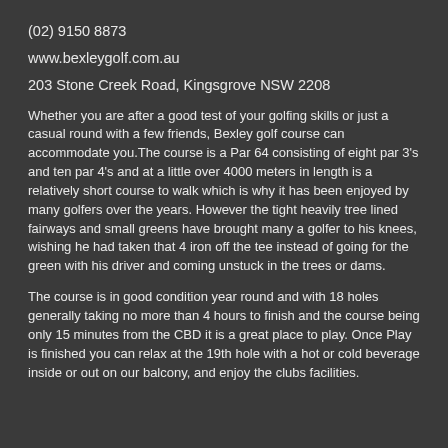(02) 9150 8873
www.bexleygolf.com.au
203 Stone Creek Road, Kingsgrove NSW 2208
Whether you are after a good test of your golfing skills or just a casual round with a few friends, Bexley golf course can accommodate you.The course is a Par 64 consisting of eight par 3's and ten par 4's and at a little over 4000 meters in length is a relatively short course to walk which is why it has been enjoyed by many golfers over the years. However the tight heavily tree lined fairways and small greens have brought many a golfer to his knees, wishing he had taken that 4 iron off the tee instead of going for the green with his driver and coming unstuck in the trees or dams.
The course is in good condition year round and with 18 holes generally taking no more than 4 hours to finish and the course being only 15 minutes from the CBD it is a great place to play. Once Play is finished you can relax at the 19th hole with a hot or cold beverage inside or out on our balcony, and enjoy the clubs facilities.